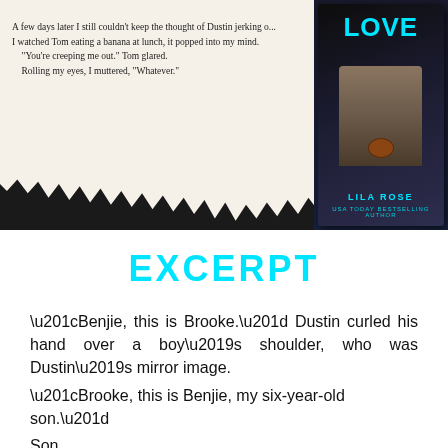[Figure (illustration): Book promotional image showing a torn paper effect with excerpt text on the left side over a dark background, and a book cover on the right featuring the title 'LOVE' in cyan text and author name 'LILA ROSE'. The excerpt text reads: 'A few days later I still couldn't keep the thought of Dustin jerking of... I watched Tom eating a banana at lunch, it popped into my mind. "You're creeping me out." Tom glared. Rolling my eyes, I muttered, "Whatever."']
EXCERPT
“Benjie, this is Brooke.” Dustin curled his hand over a boy’s shoulder, who was Dustin’s mirror image. “Brooke, this is Benjie, my six-year-old son.” Son. His son. A boy from his loins.